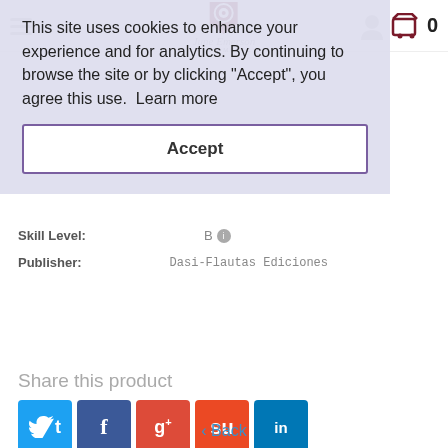June Emerson Wind Music — Cart: 0
This site uses cookies to enhance your experience and for analytics. By continuing to browse the site or by clicking "Accept", you agree this use.  Learn more
Accept
Skill Level: B
Publisher: Dasi-Flautas Ediciones
Share this product
Twitter Facebook Google+ StumbleUpon LinkedIn
Customers also bought
‹ Back